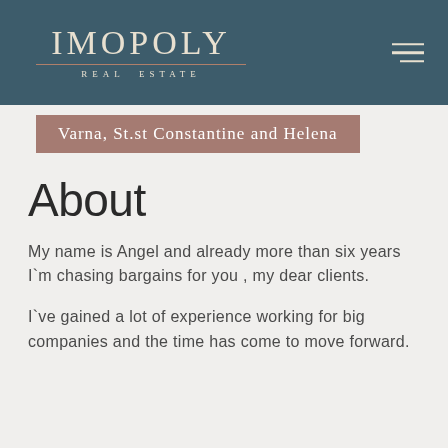IMOPOLY REAL ESTATE
Varna, St.st Constantine and Helena
About
My name is Angel and already more than six years I`m chasing bargains for you , my dear clients.
I`ve gained a lot of experience working for big companies and the time has come to move forward.